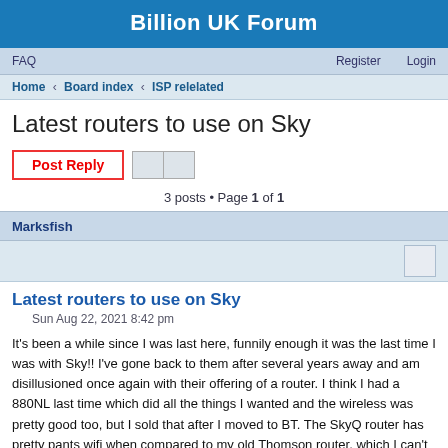Billion UK Forum
FAQ    Register  Login
Home › Board index › ISP relelated
Latest routers to use on Sky
3 posts • Page 1 of 1
Marksfish
Latest routers to use on Sky
Sun Aug 22, 2021 8:42 pm
It's been a while since I was last here, funnily enough it was the last time I was with Sky!! I've gone back to them after several years away and am disillusioned once again with their offering of a router. I think I had a 880NL last time which did all the things I wanted and the wireless was pretty good too, but I sold that after I moved to BT. The SkyQ router has pretty pants wifi when compared to my old Thomson router, which I can't now use, and there is no guest wifi, which is pretty standard on most routers these days isn't it? Anyway, what model would I be looking at as a